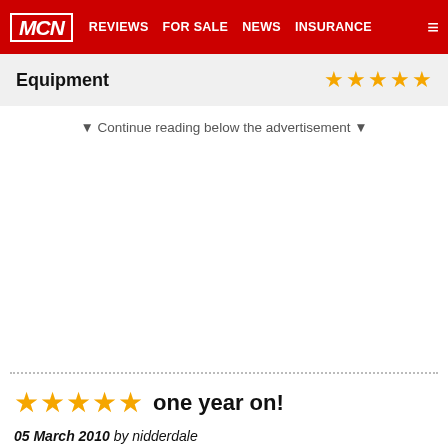MCN | REVIEWS | FOR SALE | NEWS | INSURANCE
Equipment
▼ Continue reading below the advertisement ▼
one year on!
05 March 2010 by nidderdale